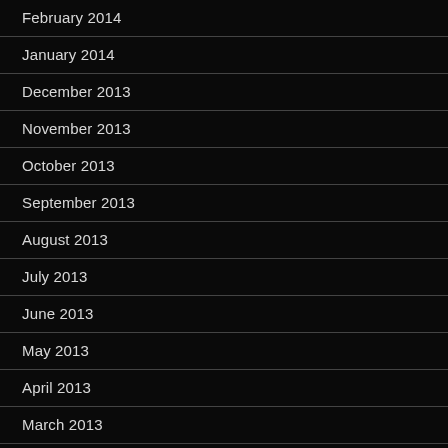February 2014
January 2014
December 2013
November 2013
October 2013
September 2013
August 2013
July 2013
June 2013
May 2013
April 2013
March 2013